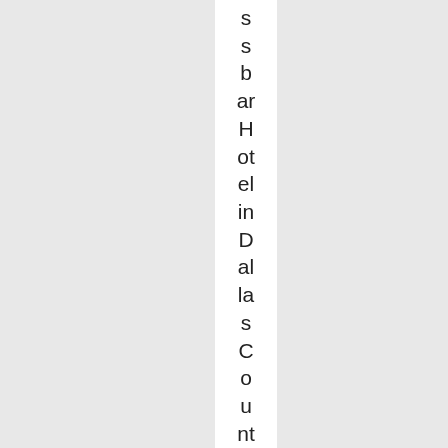s s b ar H ot el in D al la s C o u nt y. Wel l h el l a n y w